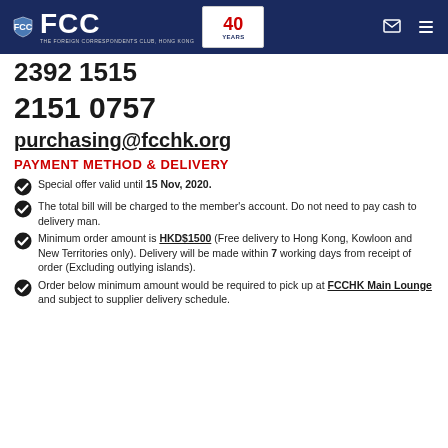FCC | 40 YEARS | THE FOREIGN CORRESPONDENTS CLUB, HONG KONG
2392 1515
2151 0757
purchasing@fcchk.org
PAYMENT METHOD & DELIVERY
Special offer valid until 15 Nov, 2020.
The total bill will be charged to the member's account. Do not need to pay cash to delivery man.
Minimum order amount is HKD$1500 (Free delivery to Hong Kong, Kowloon and New Territories only). Delivery will be made within 7 working days from receipt of order (Excluding outlying islands).
Order below minimum amount would be required to pick up at FCCHK Main Lounge and subject to supplier delivery schedule.